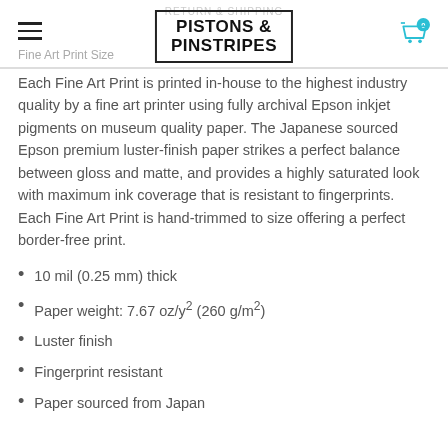PISTONS & PINSTRIPES
Fine Art Print Size
Each Fine Art Print is printed in-house to the highest industry quality by a fine art printer using fully archival Epson inkjet pigments on museum quality paper. The Japanese sourced Epson premium luster-finish paper strikes a perfect balance between gloss and matte, and provides a highly saturated look with maximum ink coverage that is resistant to fingerprints. Each Fine Art Print is hand-trimmed to size offering a perfect border-free print.
10 mil (0.25 mm) thick
Paper weight: 7.67 oz/y² (260 g/m²)
Luster finish
Fingerprint resistant
Paper sourced from Japan